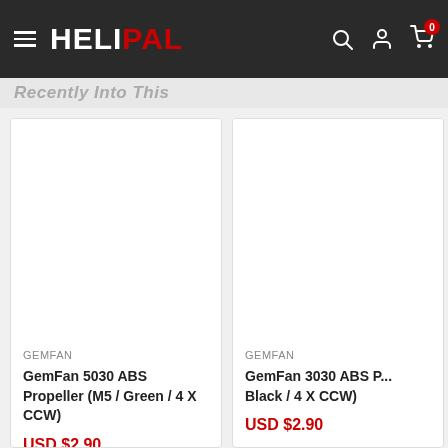[Figure (screenshot): HELIPAL website header with hamburger menu, logo, search icon, user icon, and cart icon with badge showing 0]
Recently Into This
GEMFAN
GemFan 5030 ABS Propeller (M5 / Green / 4 X CCW)
USD $2.90
GEMFAN
GemFan 3030 ABS P... Black / 4 X CCW)
USD $2.90